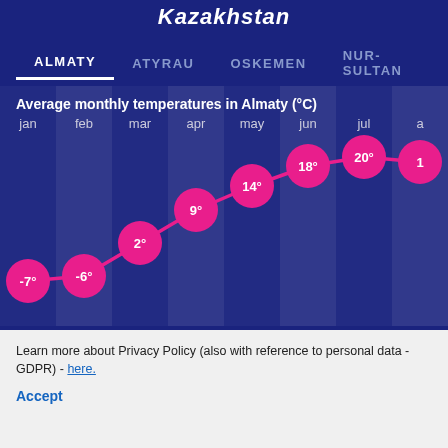Kazakhstan
ALMATY   ATYRAU   OSKEMEN   NUR-SULTAN
Average monthly temperatures in Almaty (°C)
[Figure (line-chart): Average monthly temperatures in Almaty (°C)]
Learn more about Privacy Policy (also with reference to personal data - GDPR) - here.
Accept